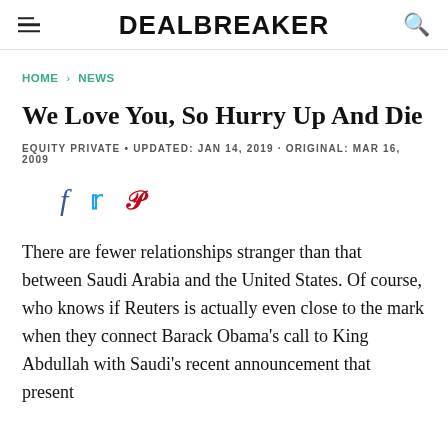DEALBREAKER
HOME > NEWS
We Love You, So Hurry Up And Die
EQUITY PRIVATE • UPDATED: JAN 14, 2019 · ORIGINAL: MAR 16, 2009
There are fewer relationships stranger than that between Saudi Arabia and the United States. Of course, who knows if Reuters is actually even close to the mark when they connect Barack Obama's call to King Abdullah with Saudi's recent announcement that present